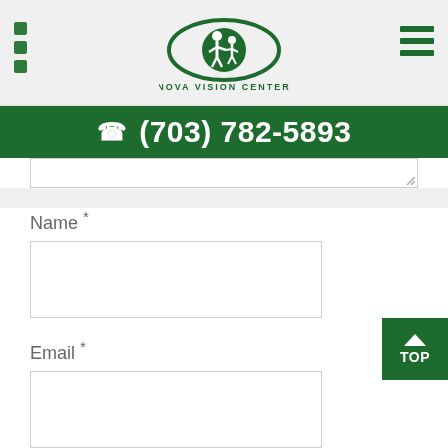Nova Vision Center
(703) 782-5893
Name *
Email *
Website
REQUEST APPOINTMENT